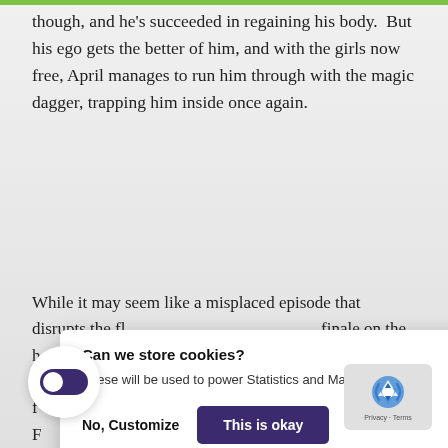though, and he's succeeded in regaining his body. But his ego gets the better of him, and with the girls now free, April manages to run him through with the magic dagger, trapping him inside once again.
While it may seem like a misplaced episode that disrupts the fl... finale on the h... nan meets the e... very important f... next season). F... neback. Second, a... ll. What it could be we can't say for sure now. But apparently it was enough that Ho... a was happy he didn't discard her immediately.
[Figure (screenshot): Cookie consent dialog with title 'Can we store cookies?', body text 'These will be used to power Statistics and Marketing.', and two buttons: 'No, Customize' and 'This is okay' (dark purple button).]
[Figure (screenshot): Toggle switch UI element (purple/dark, circular white background, toggle switched on) in lower left corner.]
[Figure (logo): reCAPTCHA badge in bottom right corner with Google reCAPTCHA icon and 'Privacy - Terms' text.]